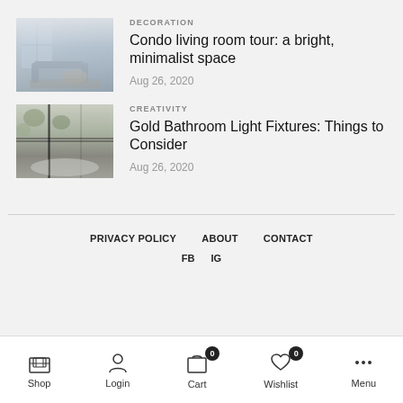[Figure (photo): Bright minimalist condo living room with grey sofa, round coffee table, rug, large windows]
DECORATION
Condo living room tour: a bright, minimalist space
Aug 26, 2020
[Figure (photo): Gold bathroom with light fixtures, plant wall visible through glass, freestanding tub]
CREATIVITY
Gold Bathroom Light Fixtures: Things to Consider
Aug 26, 2020
PRIVACY POLICY   ABOUT   CONTACT   FB   IG
Shop   Login   Cart 0   Wishlist 0   Menu